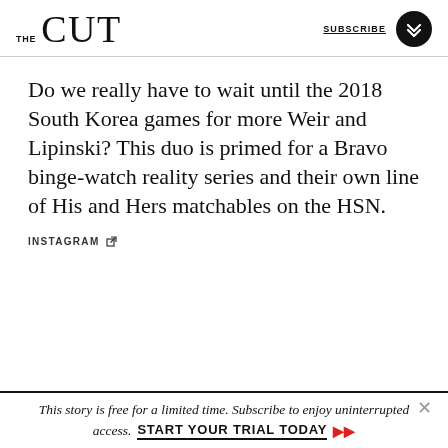THE CUT | SUBSCRIBE
Do we really have to wait until the 2018 South Korea games for more Weir and Lipinski? This duo is primed for a Bravo binge-watch reality series and their own line of His and Hers matchables on the HSN.
INSTAGRAM
This story is free for a limited time. Subscribe to enjoy uninterrupted access. START YOUR TRIAL TODAY